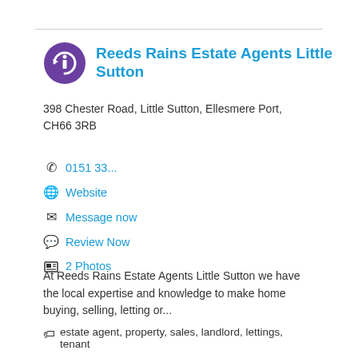Reeds Rains Estate Agents Little Sutton
398 Chester Road, Little Sutton, Ellesmere Port, CH66 3RB
0151 33...
Website
Message now
Review Now
2 Photos
At Reeds Rains Estate Agents Little Sutton we have the local expertise and knowledge to make home buying, selling, letting or...
estate agent, property, sales, landlord, lettings, tenant